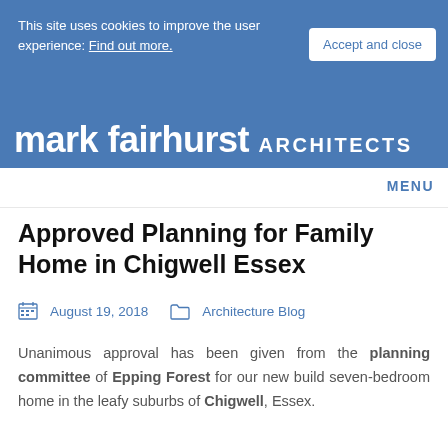mark fairhurst ARCHITECTS
This site uses cookies to improve the user experience: Find out more.
Accept and close
MENU
Approved Planning for Family Home in Chigwell Essex
August 19, 2018   Architecture Blog
Unanimous approval has been given from the planning committee of Epping Forest for our new build seven-bedroom home in the leafy suburbs of Chigwell, Essex.